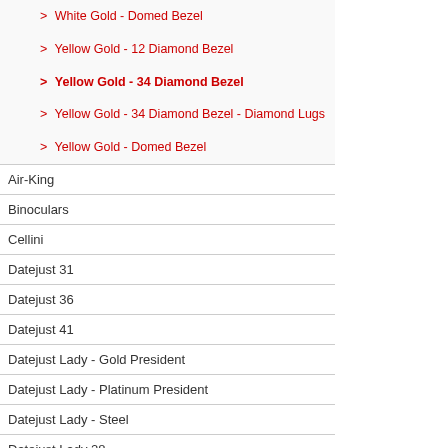> White Gold - Domed Bezel
> Yellow Gold - 12 Diamond Bezel
> Yellow Gold - 34 Diamond Bezel
> Yellow Gold - 34 Diamond Bezel - Diamond Lugs
> Yellow Gold - Domed Bezel
Air-King
Binoculars
Cellini
Datejust 31
Datejust 36
Datejust 41
Datejust Lady - Gold President
Datejust Lady - Platinum President
Datejust Lady - Steel
Datejust Lady 28
Datejust Pearlmaster 34
Datejust Pearlmaster 39
Datejust Pearlmaster Lady
Day-Date 36
Day-Date 40
Day-Date Special Edition
Daytona
Explorer
GMT-Master II
Milgauss
Oyster Perpetual No-Date
[Figure (photo): Rolex watch with yellow gold case and diamond bezel, top view]
[Figure (photo): Rolex watch with yellow gold case and diamond bezel, bottom partial view]